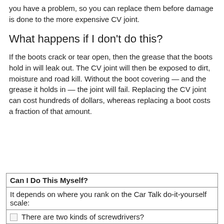you have a problem, so you can replace them before damage is done to the more expensive CV joint.
What happens if I don't do this?
If the boots crack or tear open, then the grease that the boots hold in will leak out. The CV joint will then be exposed to dirt, moisture and road kill. Without the boot covering — and the grease it holds in — the joint will fail. Replacing the CV joint can cost hundreds of dollars, whereas replacing a boot costs a fraction of that amount.
| Can I Do This Myself? |
| --- |
| It depends on where you rank on the Car Talk do-it-yourself scale: |
| ☐  There are two kinds of screwdrivers? |